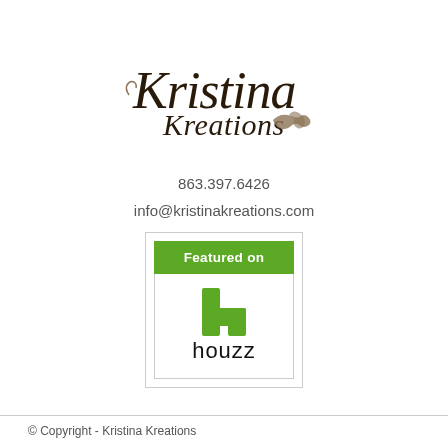[Figure (logo): Kristina Kreations decorative script logo with flourishes]
863.397.6426
info@kristinakreations.com
[Figure (logo): Featured on Houzz badge with green header bar and Houzz logo]
© Copyright - Kristina Kreations